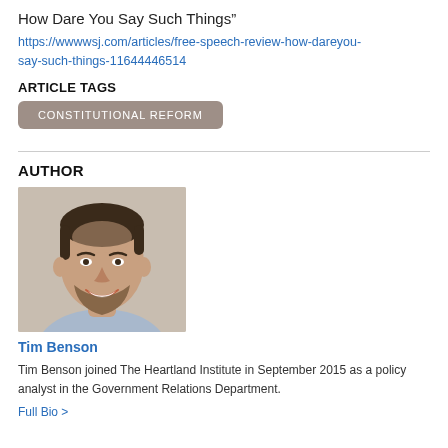How Dare You Say Such Things”
https://wwwwsj.com/articles/free-speech-review-how-dareyou-say-such-things-11644446514
ARTICLE TAGS
CONSTITUTIONAL REFORM
AUTHOR
[Figure (photo): Headshot photo of Tim Benson, a man with short dark hair and beard, smiling, wearing a light blue shirt]
Tim Benson
Tim Benson joined The Heartland Institute in September 2015 as a policy analyst in the Government Relations Department.
Full Bio >